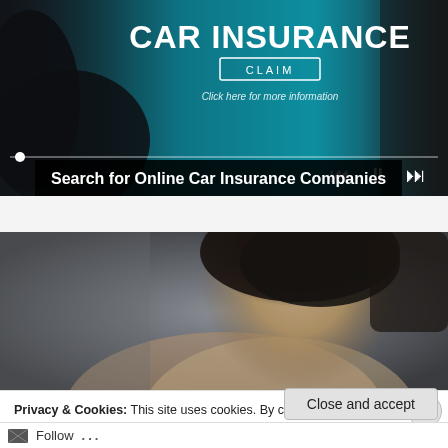[Figure (screenshot): Video player showing a car insurance advertisement with text 'CAR INSURANCE', 'CLAIM', 'Click here for more information', media controls, and a progress bar. Dark overlay on left showing person's hands.]
Search for Online Car Insurance Companies
[Figure (photo): Photo of a woman with dark hair, upper portion visible against a gray/dark background.]
Privacy & Cookies: This site uses cookies. By continuing to use this website, you agree to their use.
To find out more, including how to control cookies, see here: Cookie Policy
Close and accept
Follow ...